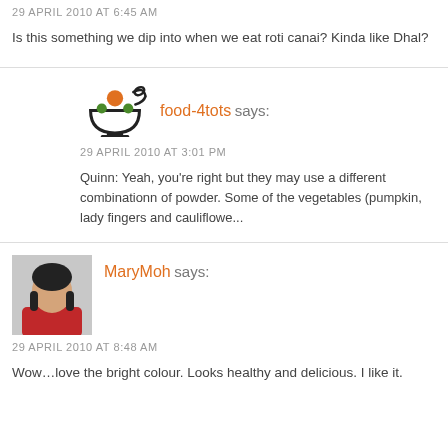29 APRIL 2010 AT 6:45 AM
Is this something we dip into when we eat roti canai? Kinda like Dhal?
food-4tots says:
29 APRIL 2010 AT 3:01 PM
Quinn: Yeah, you're right but they may use a different combinationn of powder. Some of the vegetables (pumpkin, lady fingers and cauliflowe...
MaryMoh says:
29 APRIL 2010 AT 8:48 AM
Wow…love the bright colour. Looks healthy and delicious. I like it.